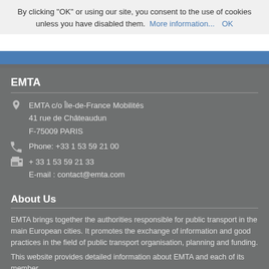By clicking “OK” or using our site, you consent to the use of cookies unless you have disabled them. More information... OK
EMTA
EMTA c/o Île-de-France Mobilités
41 rue de Châteaudun
F-75009 PARIS
Phone: +33 1 53 59 21 00
+ 33 1 53 59 21 33
E-mail : contact@emta.com
About Us
EMTA brings together the authorities responsible for public transport in the main European cities. It promotes the exchange of information and good practices in the field of public transport organisation, planning and funding.
This website provides detailed information about EMTA and each of its member